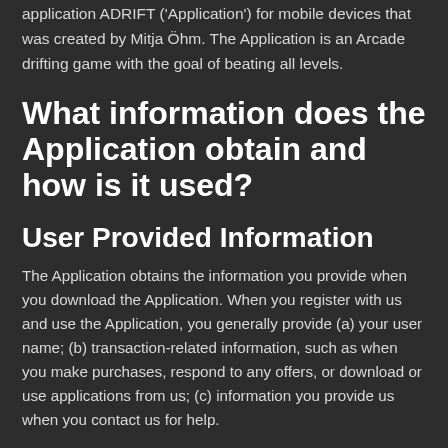application ADRIFT ('Application') for mobile devices that was created by Mitja Öhm. The Application is an Arcade drifting game with the goal of beating all levels.
What information does the Application obtain and how is it used?
User Provided Information
The Application obtains the information you provide when you download the Application. When you register with us and use the Application, you generally provide (a) your user name; (b) transaction-related information, such as when you make purchases, respond to any offers, or download or use applications from us; (c) information you provide us when you contact us for help.